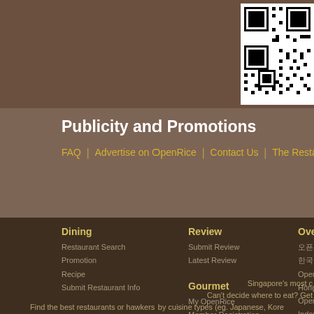[Figure (other): QR code in top right corner on brown background]
Publicity and Promotions
FAQ | Advertise on OpenRice | Contact Us | The Resta
Dining
Restaurant Search
Promotion
Recipe
Submit Restaurant Info
Review
Submit Review
Latest Review
Overseas
오픈라이스 한국
OpenRice Hong Ko
OpenRice Indonesi
OpenRice Malaysia
OpenRice Philippin
OpenRice Singapor
오픈라이스 한국
OpenRice Thailand
Gourmet
My OpenRice
Member Registration
Singapore's most c
Can't decide where to eat? Get
Find the best restaurants or hawkers by cuisine types (eg. Japanese, Kore